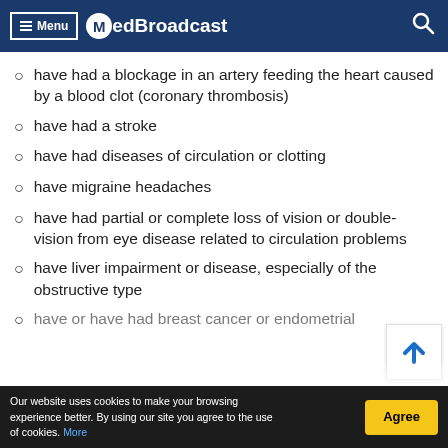Menu MedBroadcast
have had a blockage in an artery feeding the heart caused by a blood clot (coronary thrombosis)
have had a stroke
have had diseases of circulation or clotting
have migraine headaches
have had partial or complete loss of vision or double-vision from eye disease related to circulation problems
have liver impairment or disease, especially of the obstructive type
have or have had breast cancer or endometrial
Our website uses cookies to make your browsing experience better. By using our site you agree to the use of cookies. More